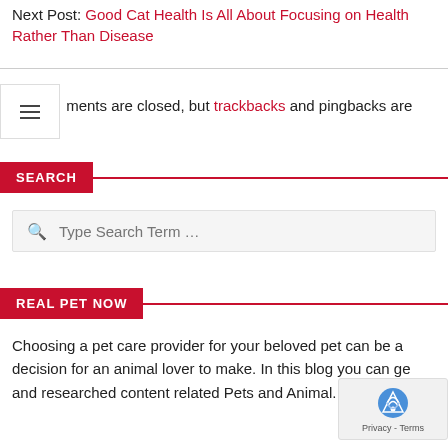Next Post: Good Cat Health Is All About Focusing on Health Rather Than Disease
Comments are closed, but trackbacks and pingbacks are open.
SEARCH
Type Search Term …
REAL PET NOW
Choosing a pet care provider for your beloved pet can be a decision for an animal lover to make. In this blog you can ge and researched content related Pets and Animal. So Enjoy t
[Figure (other): reCAPTCHA badge with logo and Privacy - Terms text]